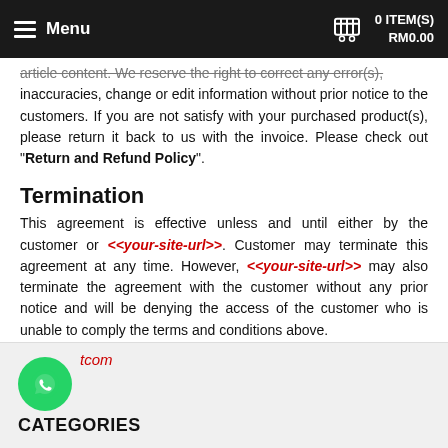Menu | 0 ITEM(S) RM0.00
article content. We reserve the right to correct any error(s), inaccuracies, change or edit information without prior notice to the customers. If you are not satisfy with your purchased product(s), please return it back to us with the invoice. Please check out "Return and Refund Policy".
Termination
This agreement is effective unless and until either by the customer or <<your-site-url>>. Customer may terminate this agreement at any time. However, <<your-site-url>> may also terminate the agreement with the customer without any prior notice and will be denying the access of the customer who is unable to comply the terms and conditions above.
tcom
CATEGORIES